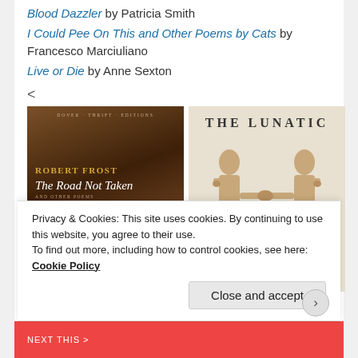Blood Dazzler by Patricia Smith
I Could Pee On This and Other Poems by Cats by Francesco Marciuliano
Live or Die by Anne Sexton
<
[Figure (photo): Book cover: Robert Frost 'The Road Not Taken and Other Poems' Dover Thrift Editions, showing a forest path in autumn/winter tones]
[Figure (photo): Book cover: 'The Lunatic' showing two headless suited figures shaking hands on a light background]
Privacy & Cookies: This site uses cookies. By continuing to use this website, you agree to their use.
To find out more, including how to control cookies, see here: Cookie Policy
Close and accept